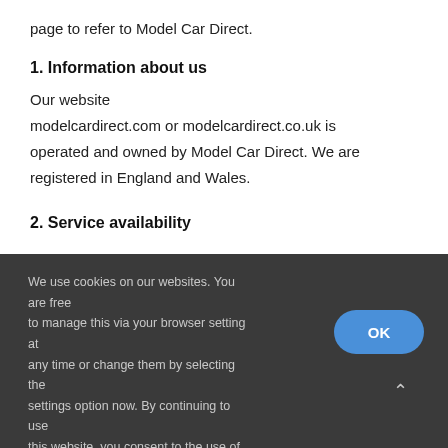page to refer to Model Car Direct.
1. Information about us
Our website modelcardirect.com or modelcardirect.co.uk is operated and owned by Model Car Direct. We are registered in England and Wales.
2. Service availability
We use cookies on our websites. You are free to manage this via your browser setting at any time or change them by selecting the settings option now. By continuing to use this website, you consent to the use of cookies as described in our Cookie Policy.
Settings
OK